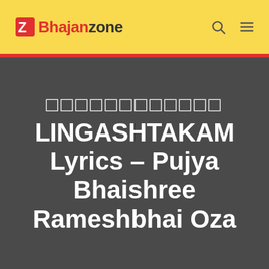BhajanZone
□□□□□□□□□□□□ LINGASHTAKAM Lyrics - Pujya Bhaishree Rameshbhai Oza